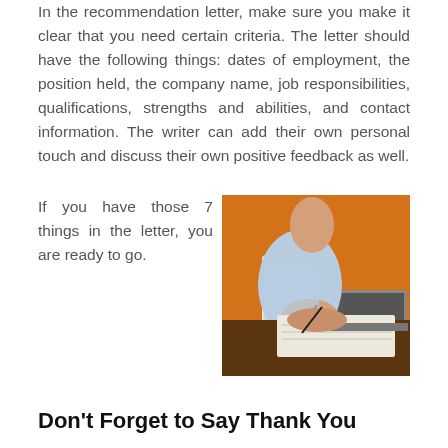In the recommendation letter, make sure you make it clear that you need certain criteria. The letter should have the following things: dates of employment, the position held, the company name, job responsibilities, qualifications, strengths and abilities, and contact information. The writer can add their own personal touch and discuss their own positive feedback as well. If you have those 7 things in the letter, you are ready to go.
[Figure (photo): A person in a light blue shirt sitting at a desk writing in a notebook with a pen, with a laptop visible in the background and an orange wall behind them.]
Don't Forget to Say Thank You